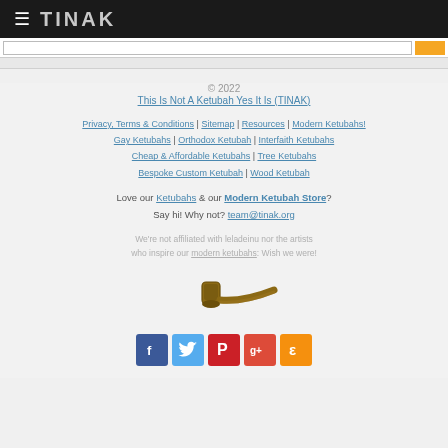TINAK
© 2022
This Is Not A Ketubah Yes It Is (TINAK)
Privacy, Terms & Conditions | Sitemap | Resources | Modern Ketubahs! Gay Ketubahs | Orthodox Ketubah | Interfaith Ketubahs Cheap & Affordable Ketubahs | Tree Ketubahs Bespoke Custom Ketubah | Wood Ketubah
Love our Ketubahs & our Modern Ketubah Store? Say hi! Why not? team@tinak.org
We're not affiliated with leladeinu nor the artists who inspire our modern ketubahs: Wish we were!
[Figure (illustration): Magritte-style smoking pipe illustration]
[Figure (infographic): Social media icons: Facebook, Twitter, Pinterest, Google+, Etsy]